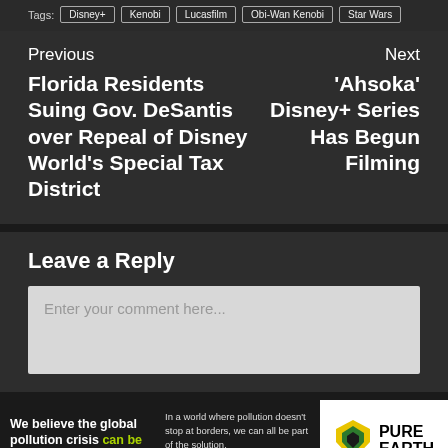Tags: Disney+ | Kenobi | Lucasfilm | Obi-Wan Kenobi | Star Wars
Previous
Next
Florida Residents Suing Gov. DeSantis over Repeal of Disney World's Special Tax District
'Ahsoka' Disney+ Series Has Begun Filming
Leave a Reply
Enter your comment here...
[Figure (other): Pure Earth advertisement banner: 'We believe the global pollution crisis can be solved.' with Pure Earth logo]